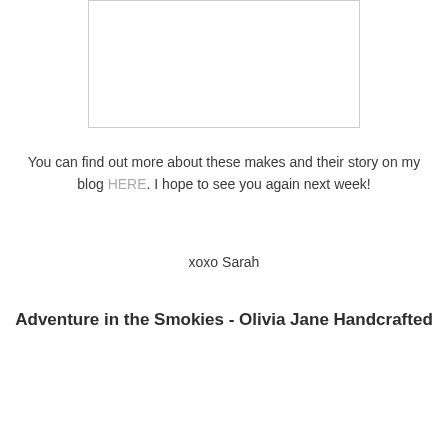[Figure (other): Empty white rectangle with thin border, representing an image placeholder]
You can find out more about these makes and their story on my blog HERE. I hope to see you again next week!
xoxo Sarah
Adventure in the Smokies - Olivia Jane Handcrafted